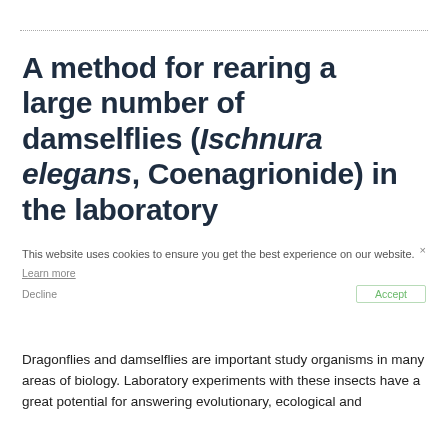A method for rearing a large number of damselflies (Ischnura elegans, Coenagrionide) in the laboratory
Dragonflies and damselflies are important study organisms in many areas of biology. Laboratory experiments with these insects have a great potential for answering evolutionary, ecological and